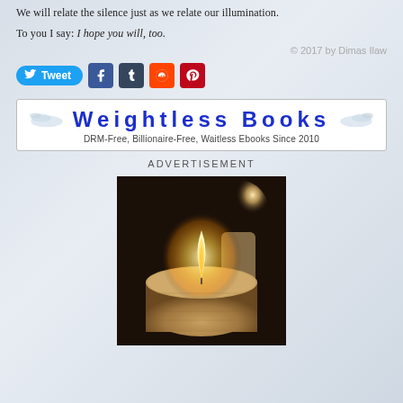We will relate the silence just as we relate our illumination.
To you I say: I hope you will, too.
© 2017 by Dimas Ilaw
[Figure (other): Social media sharing buttons: Tweet (Twitter), Facebook, Tumblr, Reddit, Pinterest]
[Figure (other): Weightless Books banner advertisement: 'Weightless Books — DRM-Free, Billionaire-Free, Waitless Ebooks Since 2010' with decorative wings on either side of the title]
ADVERTISEMENT
[Figure (photo): Close-up photograph of a lit candle in the foreground with a second glowing candle blurred in the background, dark background]